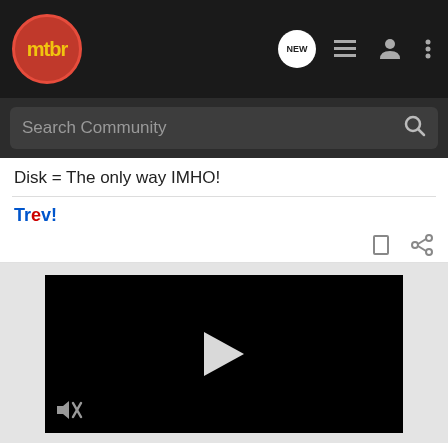mtbr
Search Community
Disk = The only way IMHO!
Trev!
[Figure (screenshot): Video player with black background and a white play button triangle in the center, mute icon at bottom left]